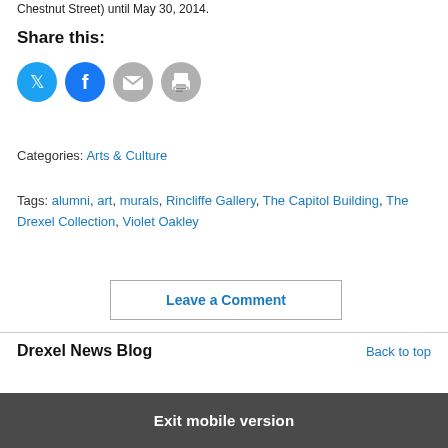Chestnut Street) until May 30, 2014.
Share this:
[Figure (infographic): Four circular social share icons: Twitter (blue), Facebook (blue), Email (grey), Print (grey)]
Categories: Arts & Culture
Tags: alumni, art, murals, Rincliffe Gallery, The Capitol Building, The Drexel Collection, Violet Oakley
Leave a Comment
Drexel News Blog
Back to top
Exit mobile version